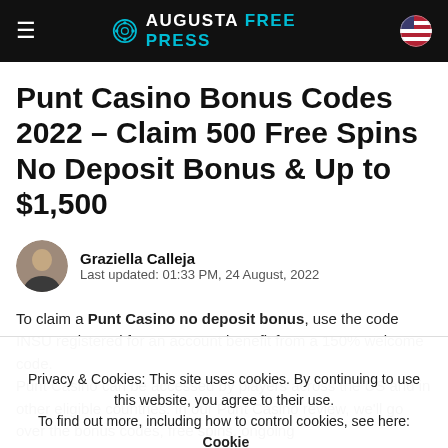AUGUSTA FREE PRESS
Punt Casino Bonus Codes 2022 – Claim 500 Free Spins No Deposit Bonus & Up to $1,500
Graziella Calleja
Last updated: 01:33 PM, 24 August, 2022
To claim a Punt Casino no deposit bonus, use the code INSU... registered for an account... benefit from a 150% welcome... code.
Punt Casino can be accessed by players across the US and in other eligible countries. In our Punt Casino review, we'll go over the bonus codes, free spins, ongoing
Privacy & Cookies: This site uses cookies. By continuing to use this website, you agree to their use. To find out more, including how to control cookies, see here: Cookie Policy
Close and accept